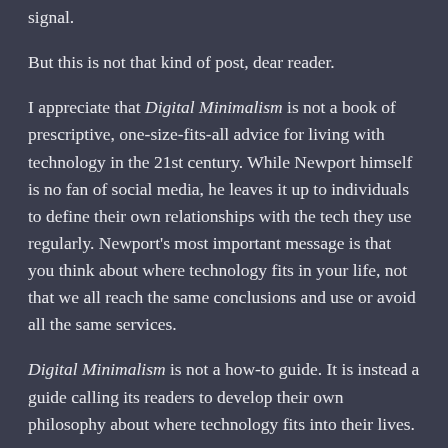signal.
But this is not that kind of post, dear reader.
I appreciate that Digital Minimalism is not a book of prescriptive, one-size-fits-all advice for living with technology in the 21st century. While Newport himself is no fan of social media, he leaves it up to individuals to define their own relationships with the tech they use regularly. Newport's most important message is that you think about where technology fits in your life, not that we all reach the same conclusions and use or avoid all the same services.
Digital Minimalism is not a how-to guide. It is instead a guide calling its readers to develop their own philosophy about where technology fits into their lives.
After I started reading the book, I deleted from my